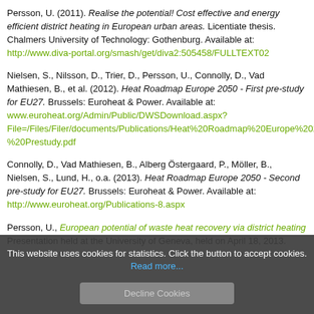Persson, U. (2011). Realise the potential! Cost effective and energy efficient district heating in European urban areas. Licentiate thesis. Chalmers University of Technology: Gothenburg. Available at: http://www.diva-portal.org/smash/get/diva2:505458/FULLTEXT02
Nielsen, S., Nilsson, D., Trier, D., Persson, U., Connolly, D., Vad Mathiesen, B., et al. (2012). Heat Roadmap Europe 2050 - First pre-study for EU27. Brussels: Euroheat & Power. Available at: www.euroheat.org/Admin/Public/DWSDownload.aspx?File=/Files/Filer/documents/Publications/Heat%20Roadmap%20Europe%202050%2-%20Prestudy.pdf
Connolly, D., Vad Mathiesen, B., Alberg Östergaard, P., Möller, B., Nielsen, S., Lund, H., o.a. (2013). Heat Roadmap Europe 2050 - Second pre-study for EU27. Brussels: Euroheat & Power. Available at: http://www.euroheat.org/Publications-8.aspx
Persson, U., European potential of waste heat recovery via district heating. Presentation held at the University of Geneva, held on April 18, 2013.
This website uses cookies for statistics. Click the button to accept cookies. Read more...